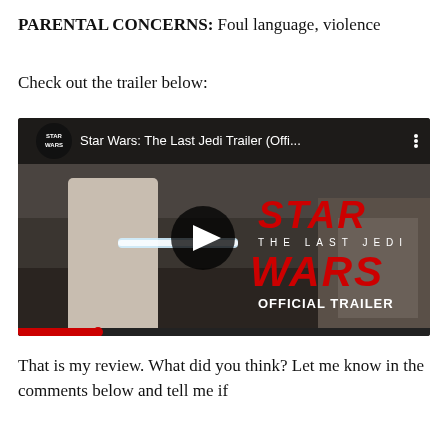PARENTAL CONCERNS: Foul language, violence
Check out the trailer below:
[Figure (screenshot): YouTube video thumbnail for Star Wars: The Last Jedi Trailer (Official), showing Rey holding a lightsaber with Star Wars The Last Jedi Official Trailer branding on the right side, with a play button overlay.]
That is my review. What did you think? Let me know in the comments below and tell me if